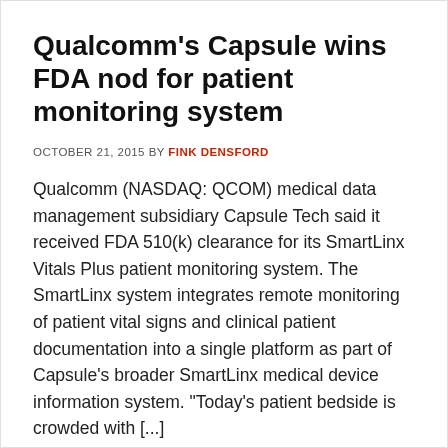Qualcomm's Capsule wins FDA nod for patient monitoring system
OCTOBER 21, 2015 BY FINK DENSFORD
Qualcomm (NASDAQ: QCOM) medical data management subsidiary Capsule Tech said it received FDA 510(k) clearance for its SmartLinx Vitals Plus patient monitoring system. The SmartLinx system integrates remote monitoring of patient vital signs and clinical patient documentation into a single platform as part of Capsule's broader SmartLinx medical device information system. "Today's patient bedside is crowded with [...]